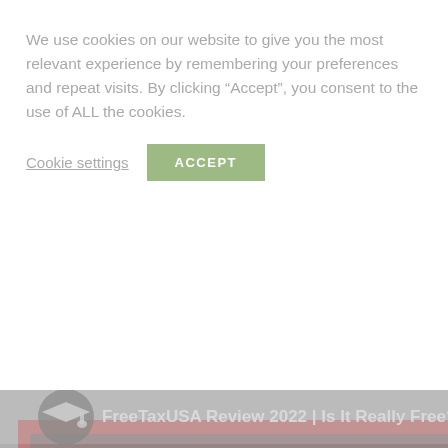We use cookies on our website to give you the most relevant experience by remembering your preferences and repeat visits. By clicking “Accept”, you consent to the use of ALL the cookies.
Cookie settings  ACCEPT
[Figure (screenshot): A semi-transparent video thumbnail showing the FreeTaxUSA Review 2022 YouTube video. The thumbnail displays the FreeTaxUSA logo with the text 'FreeTax USA REVIEW' on a gray and red background. A YouTube play button (red rounded rectangle with white triangle) is visible in the center-right area. A channel icon (graduation cap) and video title bar appear at the top. A scroll-up arrow button (chevron up in a gold/yellow square) is shown at the bottom right corner.]